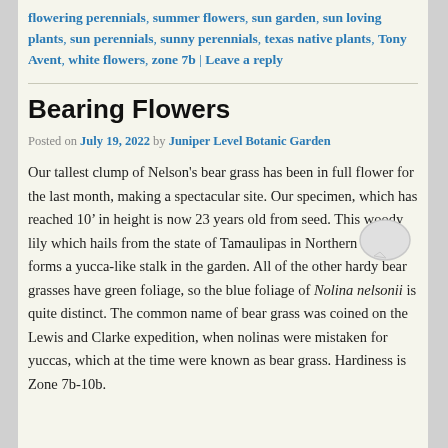flowering perennials, summer flowers, sun garden, sun loving plants, sun perennials, sunny perennials, texas native plants, Tony Avent, white flowers, zone 7b | Leave a reply
Bearing Flowers
Posted on July 19, 2022 by Juniper Level Botanic Garden
Our tallest clump of Nelson's bear grass has been in full flower for the last month, making a spectacular site. Our specimen, which has reached 10’ in height is now 23 years old from seed. This woody lily which hails from the state of Tamaulipas in Northern Mexico forms a yucca-like stalk in the garden. All of the other hardy bear grasses have green foliage, so the blue foliage of Nolina nelsonii is quite distinct. The common name of bear grass was coined on the Lewis and Clarke expedition, when nolinas were mistaken for yuccas, which at the time were known as bear grass. Hardiness is Zone 7b-10b.